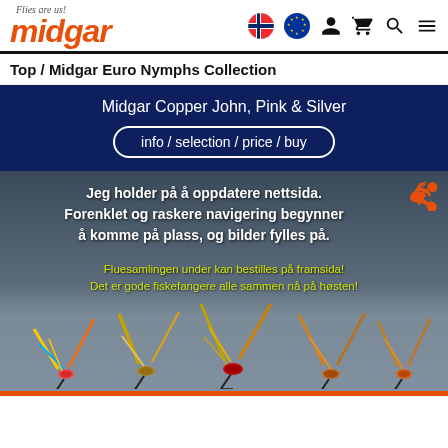[Figure (logo): Midgar logo with orange italic text and 'Flies are us!' tagline, navigation icons]
Top / Midgar Euro Nymphs Collection
Midgar Copper John, Pink & Silver
info / selection / price / buy
[Figure (photo): Promotional banner with fishing flies photo and Norwegian text about website update and fly collection ordering]
Jeg holder på å oppdatere nettsida. Forenklet og raskere navigering begynner å komme på plass, og bilder fylles på.
Fluesamlingen under kan bestilles på framsida! Det er gode fiskefangere alle sammen nå på høsten!